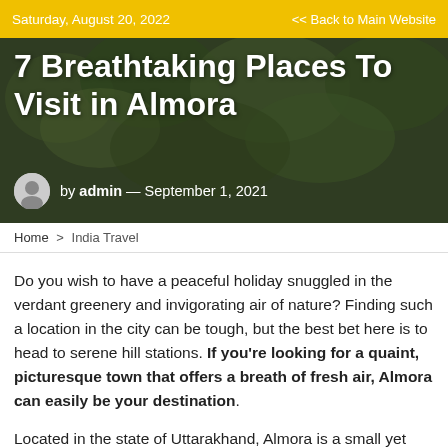Saturday, August 20, 2022   << Back to Main Website
7 Breathtaking Places To Visit in Almora
by admin — September 1, 2021
Home > India Travel
Do you wish to have a peaceful holiday snuggled in the verdant greenery and invigorating air of nature? Finding such a location in the city can be tough, but the best bet here is to head to serene hill stations. If you're looking for a quaint, picturesque town that offers a breath of fresh air, Almora can easily be your destination.
Located in the state of Uttarakhand, Almora is a small yet beautiful hill station famous for its spectacular landscapes. Whether you need to take a break from the